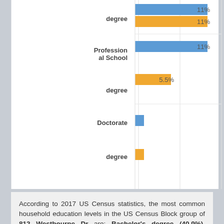[Figure (bar-chart): Education levels (partial view)]
According to 2017 US Census statistics, the most common household education levels in the US Census Block group of 812 Westbourne Dr are: Bachelor's degree (40.9%), Unfinished College (16.3%) and Professional School degree (11%).
Education statistics is shown in the table below: